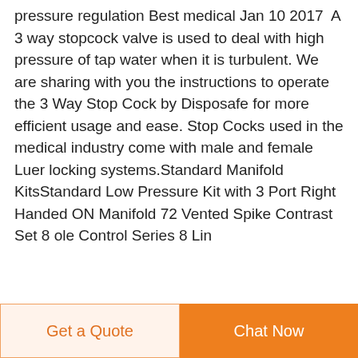pressure regulation Best medical Jan 10 2017  A 3 way stopcock valve is used to deal with high pressure of tap water when it is turbulent. We are sharing with you the instructions to operate the 3 Way Stop Cock by Disposafe for more efficient usage and ease. Stop Cocks used in the medical industry come with male and female Luer locking systems.Standard Manifold KitsStandard Low Pressure Kit with 3 Port Right Handed ON Manifold 72 Vented Spike Contrast Set 8 ole Control Series 8 Lin...
Get a Quote   Chat Now